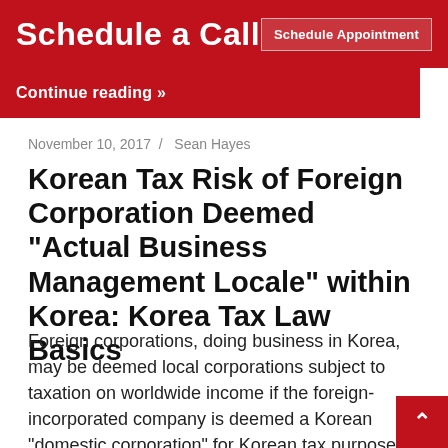Schedule a Call   Schedule Appointment
Continue reading »
November 10, 2017  /  Sean Hayes
Korean Tax Risk of Foreign Corporation Deemed "Actual Business Management Locale" within Korea: Korea Tax Law Basics
Foreign corporations, doing business in Korea, may be deemed local corporations subject to taxation on worldwide income if the foreign-incorporated company is deemed a Korean "domestic corporation" for Korean tax purposes.  This liaison-office Korean Tax Risk can, thus lead to taxes on worldwide income, a tax audit and even